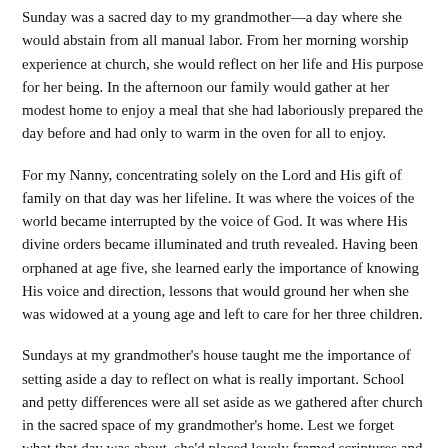Sunday was a sacred day to my grandmother—a day where she would abstain from all manual labor. From her morning worship experience at church, she would reflect on her life and His purpose for her being. In the afternoon our family would gather at her modest home to enjoy a meal that she had laboriously prepared the day before and had only to warm in the oven for all to enjoy.
For my Nanny, concentrating solely on the Lord and His gift of family on that day was her lifeline. It was where the voices of the world became interrupted by the voice of God. It was where His divine orders became illuminated and truth revealed. Having been orphaned at age five, she learned early the importance of knowing His voice and direction, lessons that would ground her when she was widowed at a young age and left to care for her three children.
Sundays at my grandmother's house taught me the importance of setting aside a day to reflect on what is really important. School and petty differences were all set aside as we gathered after church in the sacred space of my grandmother's home. Lest we forget what that day was about, she'd placed lovely framed scriptures and reminders in every room. One saying that had been cleverly placed